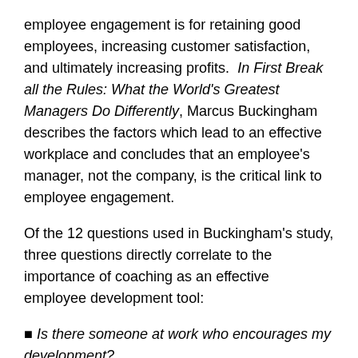employee engagement is for retaining good employees, increasing customer satisfaction, and ultimately increasing profits. In First Break all the Rules: What the World's Greatest Managers Do Differently, Marcus Buckingham describes the factors which lead to an effective workplace and concludes that an employee's manager, not the company, is the critical link to employee engagement.
Of the 12 questions used in Buckingham's study, three questions directly correlate to the importance of coaching as an effective employee development tool:
Is there someone at work who encourages my development?
This last year, have I had opportunities at work to learn